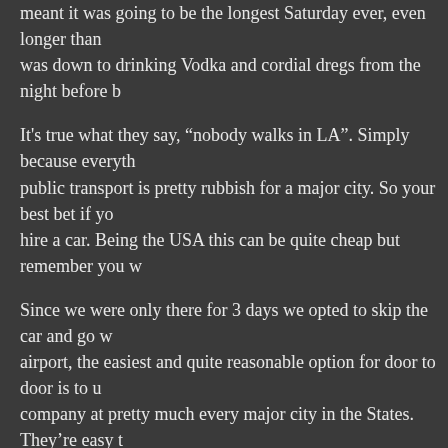meant it was going to be the longest Saturday ever, even longer than it was down to drinking Vodka and cordial dregs from the night before b
It's true what they say, “nobody walks in LA”. Simply because everything public transport is pretty rubbish for a major city. So your best bet if yo hire a car. Being the USA this can be quite cheap but remember you w
Since we were only there for 3 days we opted to skip the car and go w airport, the easiest and quite reasonable option for door to door is to u company at pretty much every major city in the States. They're easy t blue vans with bright yellow writing. You can just go to the stop and w bucks and guarantee yourself a seat, roughly $20-25US. Note that yo other passengers over several pickup and drop off points so the journ there can be a lack of order/priority at times between the driver and th pretty much whoever yelled/nagged or was stubborn the most got the
If you're on a tight budget then your only real option is to catch a bus make 3 transfers and still have to hike it with all your luggage. The up $5US) and you don't need to tip the driver.
After circling LAX 3 times with a full van load we hit the motorway alo bit over an hour later we were at our hotel, the modestly luxurious Do diamond rated, short 10min walk to the beach, 15min to the pier and for the location. The big warm chocolate chip cookie on arrive was a n adequate, large lounge area with kitchen space and large bedroom. M shower after wearing the same clothes for more than 56hours!
I wrote a more detailed review on Tripadvisor, complete with a whinge boxes!